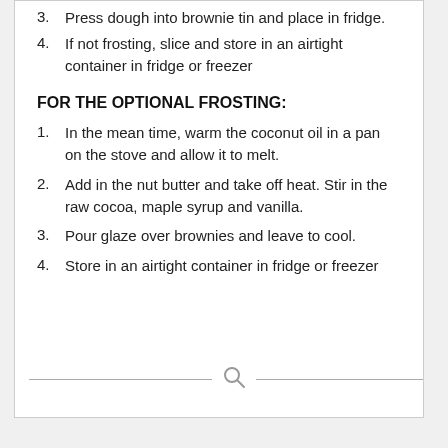3. Press dough into brownie tin and place in fridge.
4. If not frosting, slice and store in an airtight container in fridge or freezer
FOR THE OPTIONAL FROSTING:
1. In the mean time, warm the coconut oil in a pan on the stove and allow it to melt.
2. Add in the nut butter and take off heat. Stir in the raw cocoa, maple syrup and vanilla.
3. Pour glaze over brownies and leave to cool.
4. Store in an airtight container in fridge or freezer